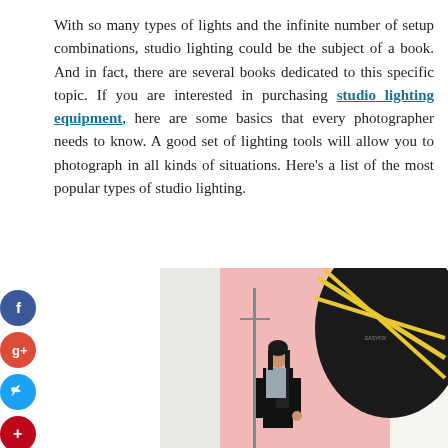With so many types of lights and the infinite number of setup combinations, studio lighting could be the subject of a book. And in fact, there are several books dedicated to this specific topic. If you are interested in purchasing studio lighting equipment, here are some basics that every photographer needs to know. A good set of lighting tools will allow you to photograph in all kinds of situations. Here's a list of the most popular types of studio lighting.
[Figure (photo): A woman in a black blazer posing in a photo studio with a pink backdrop and a large black and yellow octagonal softbox lighting modifier visible on the right side.]